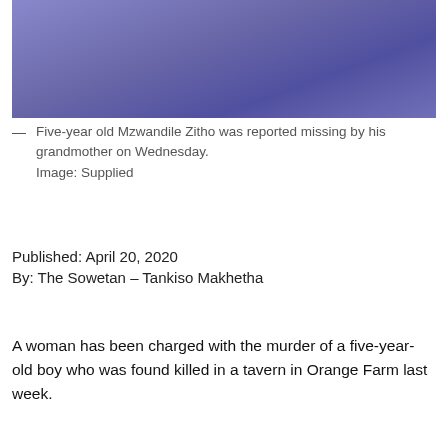[Figure (photo): Purple/blue blurry background photo, partially visible at top of page]
— Five-year old Mzwandile Zitho was reported missing by his grandmother on Wednesday.
Image: Supplied
Published: April 20, 2020
By: The Sowetan – Tankiso Makhetha
A woman has been charged with the murder of a five-year-old boy who was found killed in a tavern in Orange Farm last week.
Pontso Mohlanka appeared in the Vereeniging regional court on Monday where she was charged with Mzwandile Zitho's murder.
Phindi Mjonondwane, the National Prosecuting Authority's spokesperson said the matter was postponed until Wednesday for further investigations.